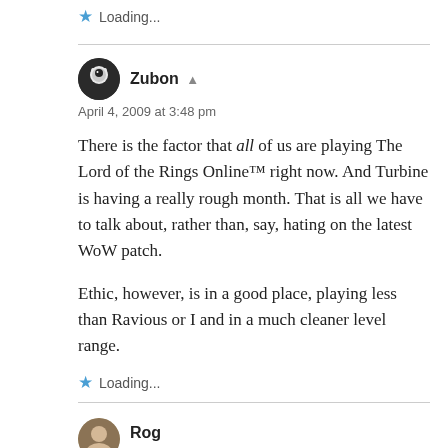★ Loading...
Zubon ▲
April 4, 2009 at 3:48 pm
There is the factor that all of us are playing The Lord of the Rings Online™ right now. And Turbine is having a really rough month. That is all we have to talk about, rather than, say, hating on the latest WoW patch.

Ethic, however, is in a good place, playing less than Ravious or I and in a much cleaner level range.
★ Loading...
Rog